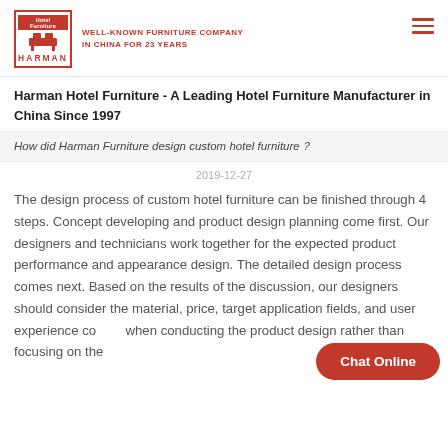HARMAN | WELL-KNOWN FURNITURE COMPANY IN CHINA FOR 23 YEARS
Harman Hotel Furniture - A Leading Hotel Furniture Manufacturer in China Since 1997
How did Harman Furniture design custom hotel furniture？
2019-12-27
The design process of custom hotel furniture can be finished through 4 steps. Concept developing and product design planning come first. Our designers and technicians work together for the expected product performance and appearance design. The detailed design process comes next. Based on the results of the discussion, our designers should consider the material, price, target application fields, and user experience co... when conducting the product design rather than focusing on the